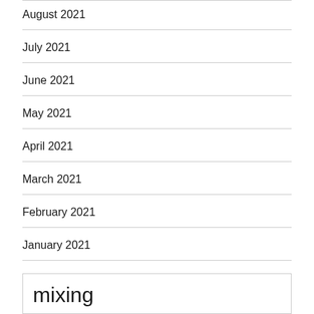August 2021
July 2021
June 2021
May 2021
April 2021
March 2021
February 2021
January 2021
December 2020
mixing